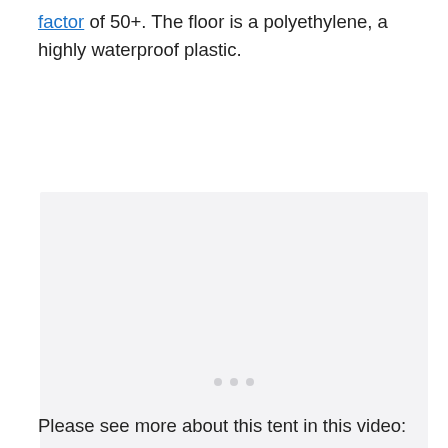factor of 50+. The floor is a polyethylene, a highly waterproof plastic.
[Figure (other): Embedded video placeholder showing a light gray rectangle with three small dots in the center, representing a loading or placeholder state for a video.]
Please see more about this tent in this video: